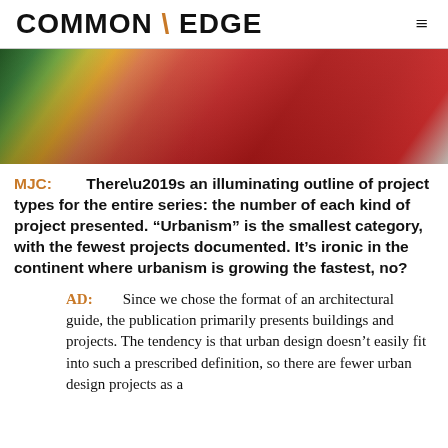COMMON \ EDGE
[Figure (photo): Colorful angled architectural panels in green, yellow, orange, red tones]
MJC: There’s an illuminating outline of project types for the entire series: the number of each kind of project presented. “Urbanism” is the smallest category, with the fewest projects documented. It’s ironic in the continent where urbanism is growing the fastest, no?
AD: Since we chose the format of an architectural guide, the publication primarily presents buildings and projects. The tendency is that urban design doesn’t easily fit into such a prescribed definition, so there are fewer urban design projects as a